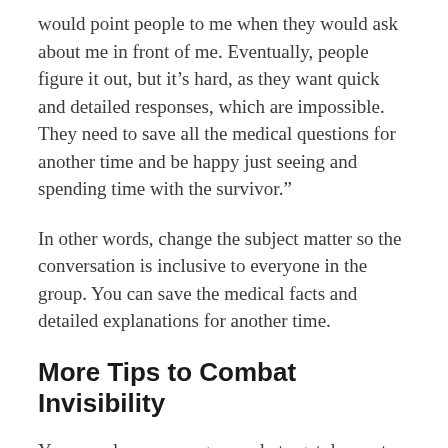would point people to me when they would ask about me in front of me. Eventually, people figure it out, but it’s hard, as they want quick and detailed responses, which are impossible. They need to save all the medical questions for another time and be happy just seeing and spending time with the survivor.”
In other words, change the subject matter so the conversation is inclusive to everyone in the group. You can save the medical facts and detailed explanations for another time.
More Tips to Combat Invisibility
You can also encourage people to get down at eye level if the person with aphasia is in a wheelchair or seated. It’s difficult to have a fair and equal conversation when most of the group is standing.